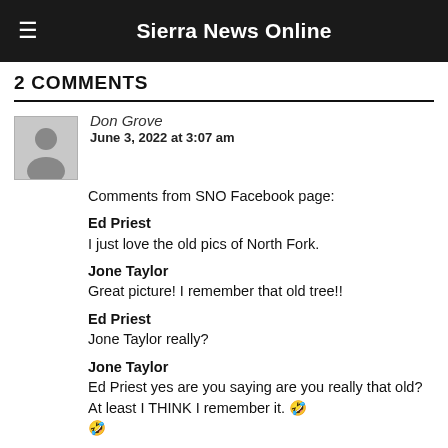Sierra News Online
2 COMMENTS
Don Grove
June 3, 2022 at 3:07 am
Comments from SNO Facebook page:
Ed Priest
I just love the old pics of North Fork.
Jone Taylor
Great picture! I remember that old tree!!
Ed Priest
Jone Taylor really?
Jone Taylor
Ed Priest yes are you saying are you really that old? At least I THINK I remember it. 🤣🤣
Sue Novell
Mr. Best's store.